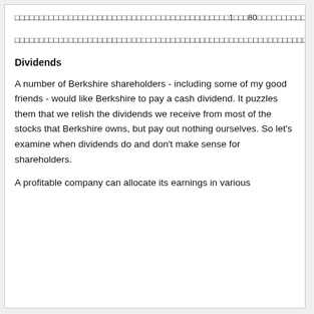□□□□□□□□□□□□□□□□□□□□□□□□□□□□□□□□□□□□□□□□□□□□1□□□80□□□□□□□□□□□□□□□□□□□□□□□□□□□□□□□□□□□□□□□□□□□□□□□□□□□□□□□□□□□□□□□□□□□□□□□□□110%□□□□□□□□□□□□□□□□□□□□□□□□□□□□□□□□□□□□□□□□□□□□□116%□□□□□□□□□□□12□□□□□□120%□□□□□□□□□□
□□□□□□□□□□□□□□□□□□□□□□□□□□□□□□□□□□□□□□□□□□□□□□□□□□□□□□□□□□□□□□□□□□□□□120%□□□□□□□□□□□□□□□□□□□□□□□□□□□□□□□□□□□□□□□□□□□□□□□□□□□□□□□□□□□□□□□□□(PDF□□□□18□□□)
Dividends
A number of Berkshire shareholders - including some of my good friends - would like Berkshire to pay a cash dividend. It puzzles them that we relish the dividends we receive from most of the stocks that Berkshire owns, but pay out nothing ourselves. So let's examine when dividends do and don't make sense for shareholders.
A profitable company can allocate its earnings in various